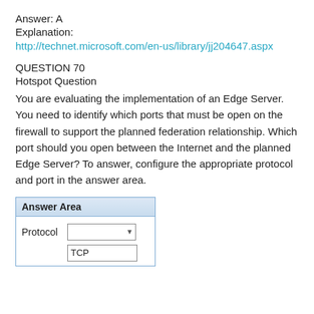Answer: A
Explanation:
http://technet.microsoft.com/en-us/library/jj204647.aspx
QUESTION 70
Hotspot Question
You are evaluating the implementation of an Edge Server. You need to identify which ports that must be open on the firewall to support the planned federation relationship. Which port should you open between the Internet and the planned Edge Server? To answer, configure the appropriate protocol and port in the answer area.
| Answer Area |
| --- |
| Protocol |  |
|  | TCP |